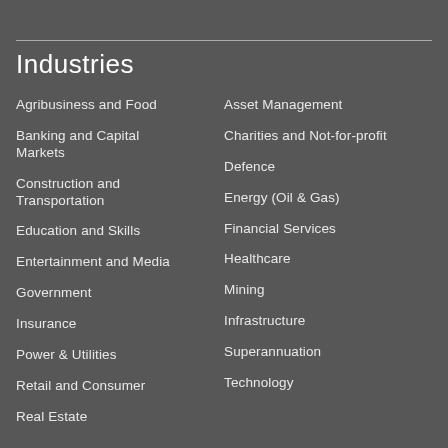Industries
Agribusiness and Food
Banking and Capital Markets
Construction and Transportation
Education and Skills
Entertainment and Media
Government
Insurance
Power & Utilities
Retail and Consumer
Real Estate
Asset Management
Charities and Not-for-profit
Defence
Energy (Oil & Gas)
Financial Services
Healthcare
Mining
Infrastructure
Superannuation
Technology